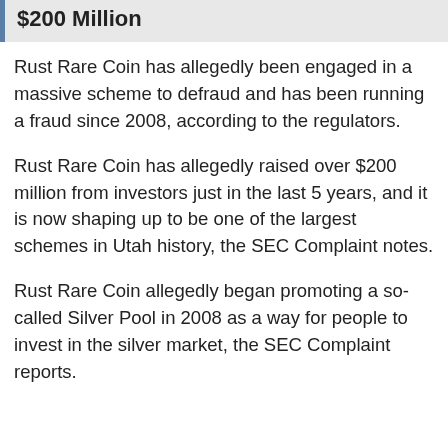$200 Million
Rust Rare Coin has allegedly been engaged in a massive scheme to defraud and has been running a fraud since 2008, according to the regulators.
Rust Rare Coin has allegedly raised over $200 million from investors just in the last 5 years, and it is now shaping up to be one of the largest schemes in Utah history, the SEC Complaint notes.
Rust Rare Coin allegedly began promoting a so-called Silver Pool in 2008 as a way for people to invest in the silver market, the SEC Complaint reports.